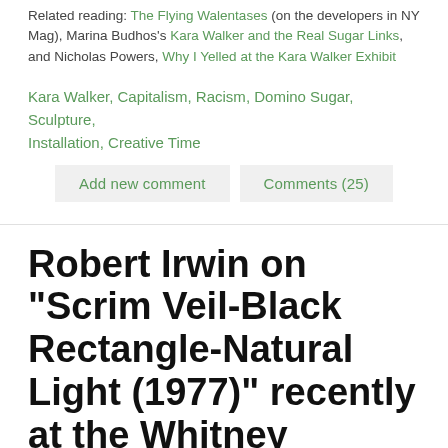Related reading: The Flying Walentases (on the developers in NY Mag), Marina Budhos's Kara Walker and the Real Sugar Links, and Nicholas Powers, Why I Yelled at the Kara Walker Exhibit
Kara Walker, Capitalism, Racism, Domino Sugar, Sculpture, Installation, Creative Time
Add new comment    Comments (25)
Robert Irwin on "Scrim Veil-Black Rectangle-Natural Light (1977)" recently at the Whitney
SEPTEMBER 11, 2013